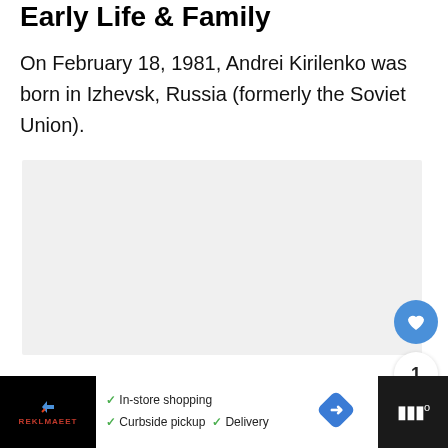Early Life & Family
On February 18, 1981, Andrei Kirilenko was born in Izhevsk, Russia (formerly the Soviet Union).
[Figure (photo): Gray placeholder image area for a photo related to Andrei Kirilenko]
In-store shopping  Curbside pickup  Delivery